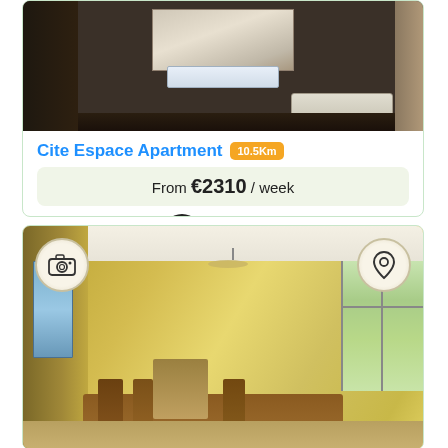[Figure (photo): Bathroom interior with vanity mirror, sink, and bathtub in dark wood tones]
Cite Espace Apartment 10.5Km
From €2310 / week
Book Now
[Figure (photo): Bright living/dining area with yellow walls, wooden dining table and chairs, chandelier, and large windows]